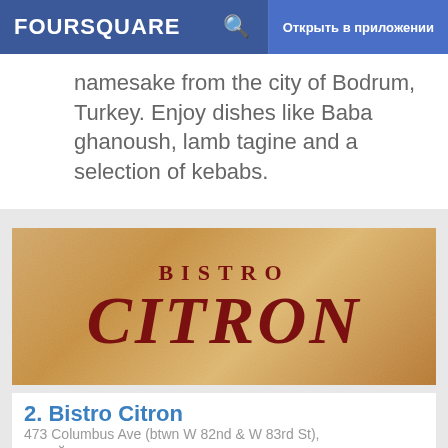FOURSQUARE | Открыть в приложении
namesake from the city of Bodrum, Turkey. Enjoy dishes like Baba ghanoush, lamb tagine and a selection of kebabs.
[Figure (photo): Sign for Bistro Citron restaurant showing the words BISTRO and CITRON in dark red letters on a stone-textured golden-brown background]
2. Bistro Citron
473 Columbus Ave (btwn W 82nd & W 83rd St), Нью-Йорк, NY